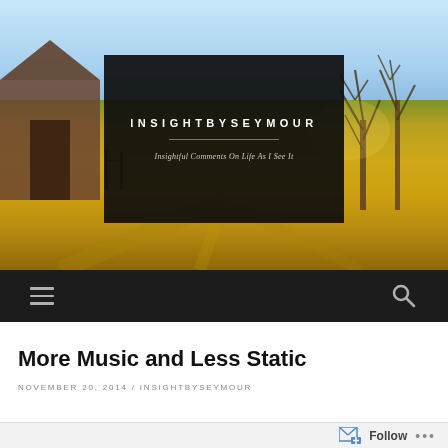[Figure (photo): Outdoor landscape photo with golden sunlit field, barn silhouette on left, bare trees on right, light blue sky at top. Blog header image for insightbyseymour.]
INSIGHTBYSEYMOUR
Insightful Comments On Life As I See It
Navigation bar with hamburger menu icon on left and search icon on right
More Music and Less Static
NOVEMBER 20, 2014 / INSIGHTBYSEYMOUR
Follow ...